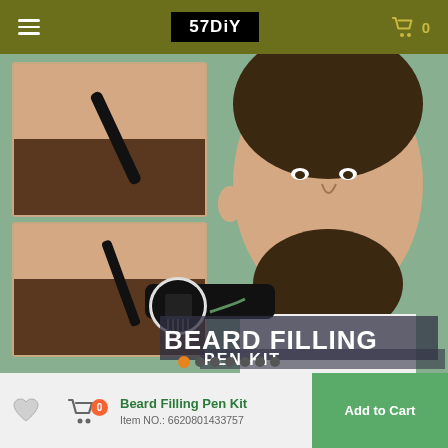57DiY
[Figure (photo): Product photo collage showing Beard Filling Pen Kit. Top-left: close-up of a pen being used on a man's beard jawline. Bottom-left: close-up of pen being used under nose/mustache area. Center/right: man with full styled beard looking left. Bottom-center: close-up of the pen tip/brush. Large white bold text overlay reads 'BEARD FILLING PEN KIT' on a mint green background. Orange and gray carousel dots at bottom.]
Beard Filling Pen Kit
Item NO.: 6620801433757
Add to Cart